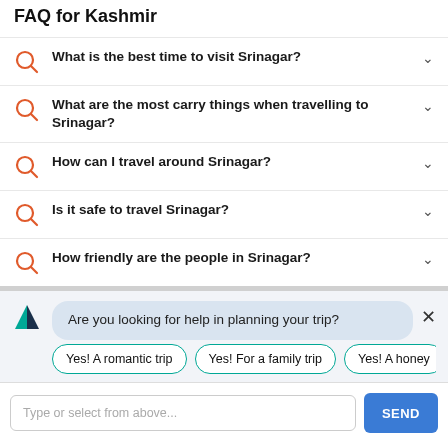FAQ for Kashmir
What is the best time to visit Srinagar?
What are the most carry things when travelling to Srinagar?
How can I travel around Srinagar?
Is it safe to travel Srinagar?
How friendly are the people in Srinagar?
Are you looking for help in planning your trip?
Yes! A romantic trip | Yes! For a family trip | Yes! A honey...
Type or select from above...